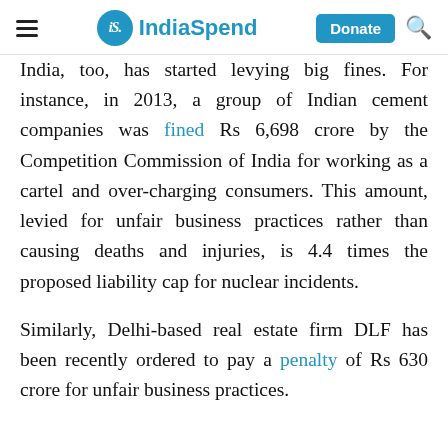IndiaSpend — Donate | Search
India, too, has started levying big fines. For instance, in 2013, a group of Indian cement companies was fined Rs 6,698 crore by the Competition Commission of India for working as a cartel and over-charging consumers. This amount, levied for unfair business practices rather than causing deaths and injuries, is 4.4 times the proposed liability cap for nuclear incidents.
Similarly, Delhi-based real estate firm DLF has been recently ordered to pay a penalty of Rs 630 crore for unfair business practices.